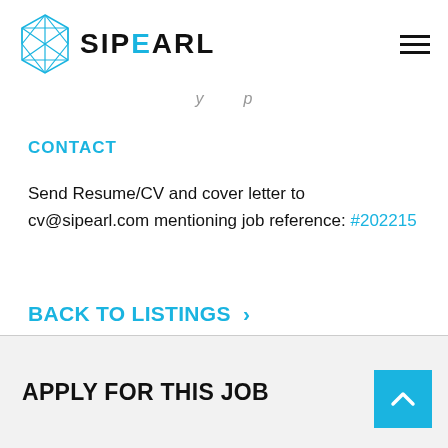SIPEARL
y p
CONTACT
Send Resume/CV and cover letter to cv@sipearl.com mentioning job reference: #202215
BACK TO LISTINGS >
APPLY FOR THIS JOB